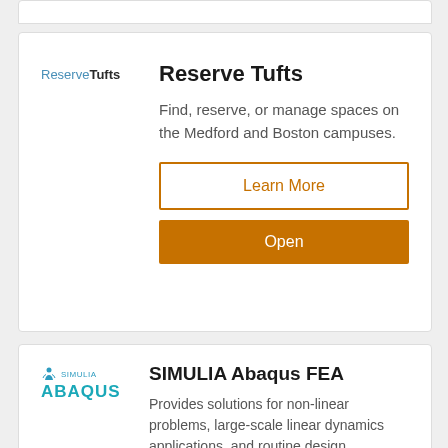[Figure (logo): Reserve Tufts logo with 'Reserve' in blue and 'Tufts' in bold black]
Reserve Tufts
Find, reserve, or manage spaces on the Medford and Boston campuses.
Learn More
Open
[Figure (logo): SIMULIA Abaqus logo with teal/cyan text and small person icon]
SIMULIA Abaqus FEA
Provides solutions for non-linear problems, large-scale linear dynamics applications, and routine design simulations.